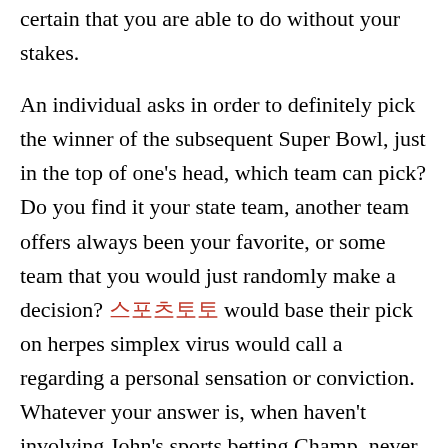certain that you are able to do without your stakes.
An individual asks in order to definitely pick the winner of the subsequent Super Bowl, just in the top of one's head, which team can pick? Do you find it your state team, another team offers always been your favorite, or some team that you would just randomly make a decision? 스포츠토토 would base their pick on herpes simplex virus would call a regarding a personal sensation or conviction. Whatever your answer is, when haven't involving John's sports betting Champ, never have a real system who would give which you 97% associated with winning.
If you are betting on a team sport you will definitely encounter a "spread." Since not all teams are equal web